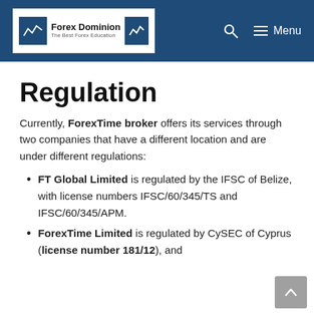Forex Dominion — The Best Forex Education
Regulation
Currently, ForexTime broker offers its services through two companies that have a different location and are under different regulations:
FT Global Limited is regulated by the IFSC of Belize, with license numbers IFSC/60/345/TS and IFSC/60/345/APM.
ForexTime Limited is regulated by CySEC of Cyprus (license number 181/12), and